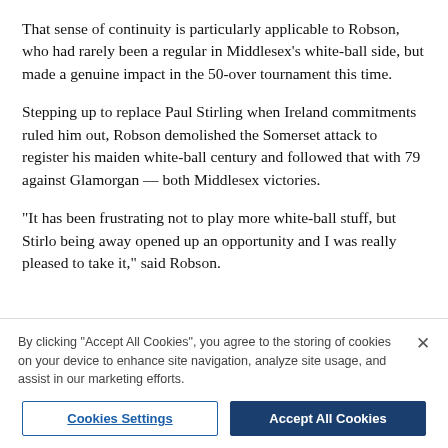That sense of continuity is particularly applicable to Robson, who had rarely been a regular in Middlesex's white-ball side, but made a genuine impact in the 50-over tournament this time.
Stepping up to replace Paul Stirling when Ireland commitments ruled him out, Robson demolished the Somerset attack to register his maiden white-ball century and followed that with 79 against Glamorgan — both Middlesex victories.
"It has been frustrating not to play more white-ball stuff, but Stirlo being away opened up an opportunity and I was really pleased to take it," said Robson.
By clicking "Accept All Cookies", you agree to the storing of cookies on your device to enhance site navigation, analyze site usage, and assist in our marketing efforts.